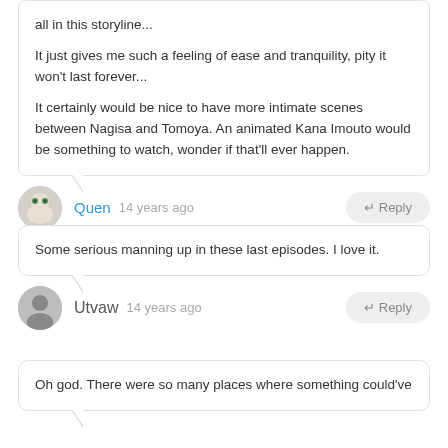all in this storyline... It just gives me such a feeling of ease and tranquility, pity it won't last forever... It certainly would be nice to have more intimate scenes between Nagisa and Tomoya. An animated Kana Imouto would be something to watch, wonder if that'll ever happen.
Quen  14 years ago  ↵ Reply
Some serious manning up in these last episodes. I love it.
Utvaw  14 years ago  ↵ Reply
Oh god. There were so many places where something could've